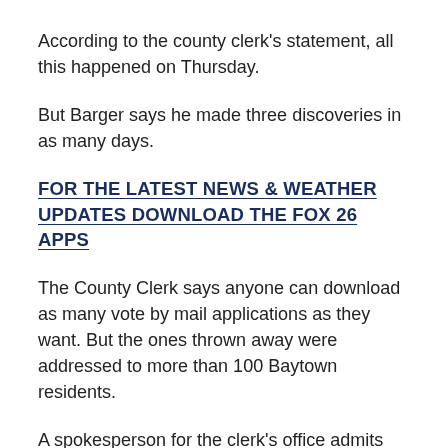According to the county clerk's statement, all this happened on Thursday.
But Barger says he made three discoveries in as many days.
FOR THE LATEST NEWS & WEATHER UPDATES DOWNLOAD THE FOX 26 APPS
The County Clerk says anyone can download as many vote by mail applications as they want. But the ones thrown away were addressed to more than 100 Baytown residents.
A spokesperson for the clerk's office admits someone could have filled out the applications and gotten scores